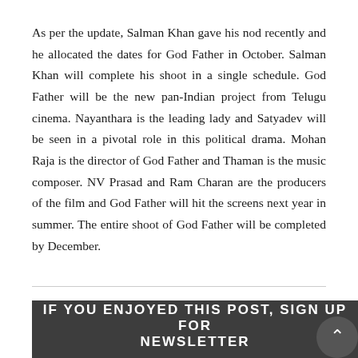As per the update, Salman Khan gave his nod recently and he allocated the dates for God Father in October. Salman Khan will complete his shoot in a single schedule. God Father will be the new pan-Indian project from Telugu cinema. Nayanthara is the leading lady and Satyadev will be seen in a pivotal role in this political drama. Mohan Raja is the director of God Father and Thaman is the music composer. NV Prasad and Ram Charan are the producers of the film and God Father will hit the screens next year in summer. The entire shoot of God Father will be completed by December.
IF YOU ENJOYED THIS POST, SIGN UP FOR NEWSLETTER